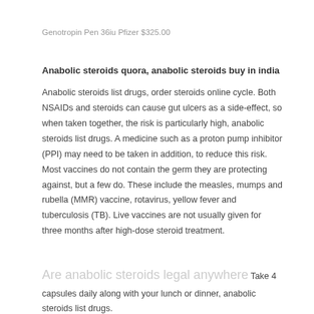Genotropin Pen 36iu Pfizer $325.00
Anabolic steroids quora, anabolic steroids buy in india
Anabolic steroids list drugs, order steroids online cycle. Both NSAIDs and steroids can cause gut ulcers as a side-effect, so when taken together, the risk is particularly high, anabolic steroids list drugs. A medicine such as a proton pump inhibitor (PPI) may need to be taken in addition, to reduce this risk. Most vaccines do not contain the germ they are protecting against, but a few do. These include the measles, mumps and rubella (MMR) vaccine, rotavirus, yellow fever and tuberculosis (TB). Live vaccines are not usually given for three months after high-dose steroid treatment.
Are anabolic steroids legal anywhere Take 4 capsules daily along with your lunch or dinner, anabolic steroids list drugs.